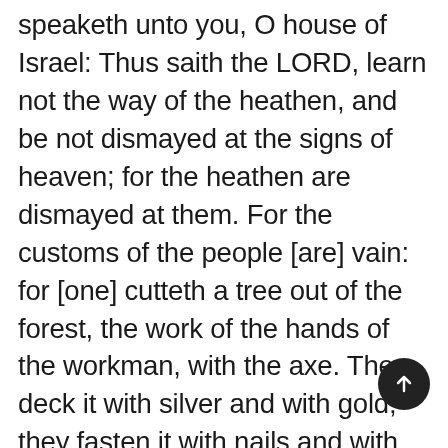speaketh unto you, O house of Israel: Thus saith the LORD, learn not the way of the heathen, and be not dismayed at the signs of heaven; for the heathen are dismayed at them. For the customs of the people [are] vain: for [one] cutteth a tree out of the forest, the work of the hands of the workman, with the axe. They deck it with silver and with gold; they fasten it with nails and with hammers, that it move not. They [are] upright as the palm tree, but speak not: they must needs be borne, because they cannot go. Be not afraid of them; for they cannot do evil, neither also [is it] in them to do good. Forasmuch as [there is] none like unto